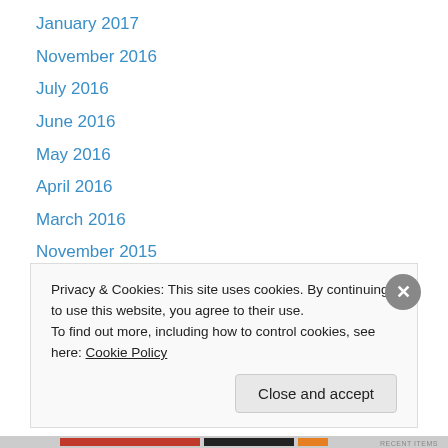January 2017
November 2016
July 2016
June 2016
May 2016
April 2016
March 2016
November 2015
October 2015
August 2015
July 2015
June 2015
May 2015
Privacy & Cookies: This site uses cookies. By continuing to use this website, you agree to their use. To find out more, including how to control cookies, see here: Cookie Policy
Close and accept